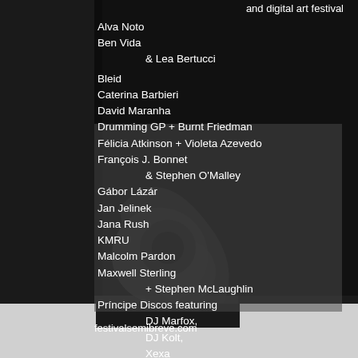[Figure (photo): Black and white photo of what appears to be a musical instrument or mechanical object, serving as background for a festival poster]
electronic music and digital art festival
Alva Noto
Ben Vida
& Lea Bertucci
Bleid
Caterina Barbieri
David Maranha
Drumming GP + Burnt Friedman
Félicia Atkinson + Violeta Azevedo
François J. Bonnet
& Stephen O'Malley
Gábor Lázár
Jan Jelinek
Jana Rush
KMRU
Malcolm Pardon
Maxwell Sterling
+ Stephen McLaughlin
Príncipe Discos featuring
DJ Marfox,
DJ Kolt,
Xexa
+ installations, talks, workshops
festivalsemibreve.com